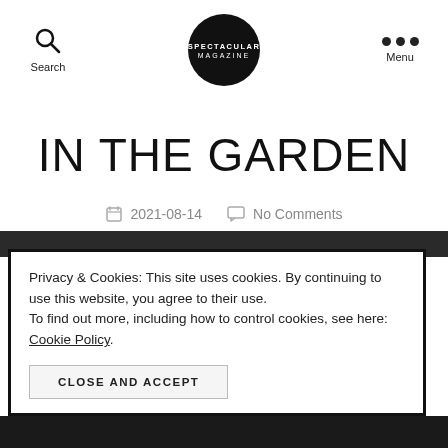Search  SPECTACULAR MAGAZINE  Menu
IN THE GARDEN
2021-08-14  No Comments
Privacy & Cookies: This site uses cookies. By continuing to use this website, you agree to their use.
To find out more, including how to control cookies, see here: Cookie Policy.
CLOSE AND ACCEPT